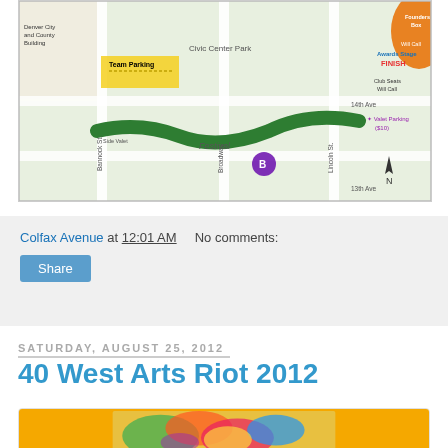[Figure (map): Street map of Civic Center Park area in Denver, showing Festival area, Team Parking, Founders Box, Awards Stage FINISH, Club Seats Will Call, Valet Parking ($10), Bannock St, Broadway, Lincoln St, 13th Ave, 14th Ave, and a compass north arrow. A green winding path indicates the Festival route. A purple circle marked B appears in the center.]
Colfax Avenue at 12:01 AM    No comments:
Share
Saturday, August 25, 2012
40 West Arts Riot 2012
[Figure (photo): Colorful abstract artwork image with orange border, showing vibrant multi-colored festival or arts-related imagery.]